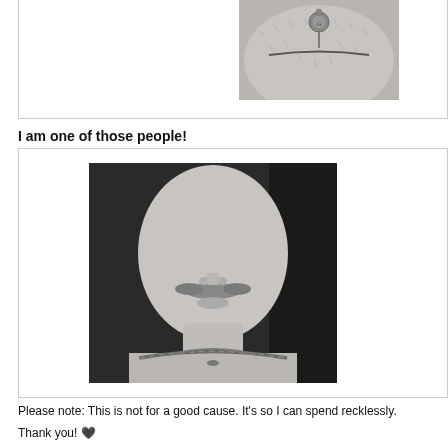[Figure (photo): Black and white close-up photo of a person's chest with a Gucci pendant necklace, showing hairy chest and medallion with GG logo]
I am one of those people!
[Figure (photo): Black and white portrait photo of a man with a mustache, shirtless, wearing a chain necklace, photographed from chin to chest level]
Please note: This is not for a good cause. It's so I can spend recklessly.
Thank you! 🖤